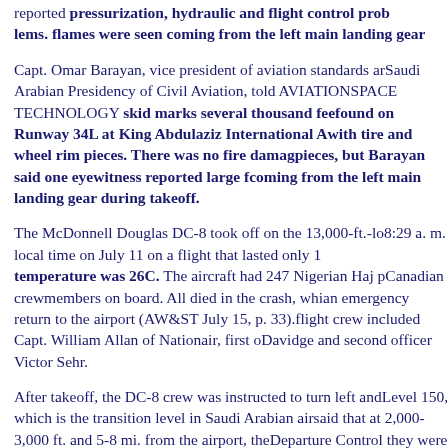reported pressurization, hydraulic and flight control problems. flames were seen coming from the left main landing gear...
Capt. Omar Barayan, vice president of aviation standards and Saudi Arabian Presidency of Civil Aviation, told AVIATION SPACE TECHNOLOGY skid marks several thousand feet found on Runway 34L at King Abdulaziz International A with tire and wheel rim pieces. There was no fire damage pieces, but Barayan said one eyewitness reported large flames coming from the left main landing gear during takeoff.
The McDonnell Douglas DC-8 took off on the 13,000-ft.-long runway at 8:29 a.m. local time on July 11 on a flight that lasted only minutes. The temperature was 26C. The aircraft had 247 Nigerian Haj passengers and Canadian crewmembers on board. All died in the crash, which occurred during an emergency return to the airport (AW&ST July 15, p. 33). The flight crew included Capt. William Allan of Nationair, first officer Davidge and second officer Victor Sehr.
After takeoff, the DC-8 crew was instructed to turn left and climb to Flight Level 150, which is the transition level in Saudi Arabian airspace. Controllers said that at 2,000-3,000 ft. and 5-8 mi. from the airport, the crew told Departure Control they were experiencing a pressurization problem and they wanted to maintain 3,000 R.